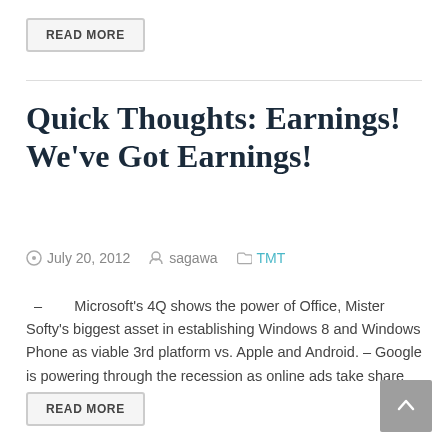READ MORE
Quick Thoughts: Earnings! We've Got Earnings!
July 20, 2012   sagawa   TMT
– Microsoft's 4Q shows the power of Office, Mister Softy's biggest asset in establishing Windows 8 and Windows Phone as viable 3rd platform vs. Apple and Android. – Google is powering through the recession as online ads take share
READ MORE